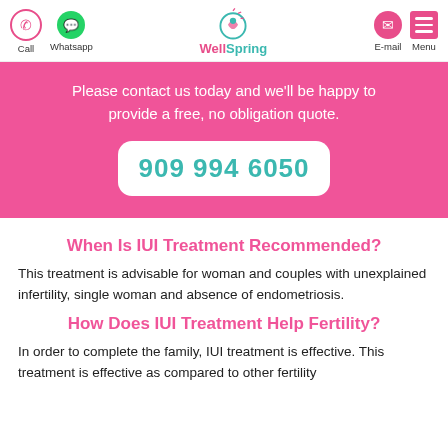Call | Whatsapp | WellSpring | E-mail | Menu
Please contact us today and we'll be happy to provide a free, no obligation quote.
909 994 6050
When Is IUI Treatment Recommended?
This treatment is advisable for woman and couples with unexplained infertility, single woman and absence of endometriosis.
How Does IUI Treatment Help Fertility?
In order to complete the family, IUI treatment is effective. This treatment is effective as compared to other fertility